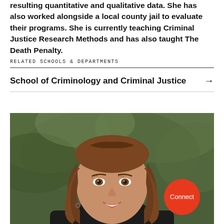resulting quantitative and qualitative data. She has also worked alongside a local county jail to evaluate their programs. She is currently teaching Criminal Justice Research Methods and has also taught The Death Penalty.
RELATED SCHOOLS & DEPARTMENTS
School of Criminology and Criminal Justice →
[Figure (photo): Headshot photo of a young woman with brown hair, smiling, with a blurred green outdoor background. A red circular 'Connect' button is overlaid in the bottom-right corner.]